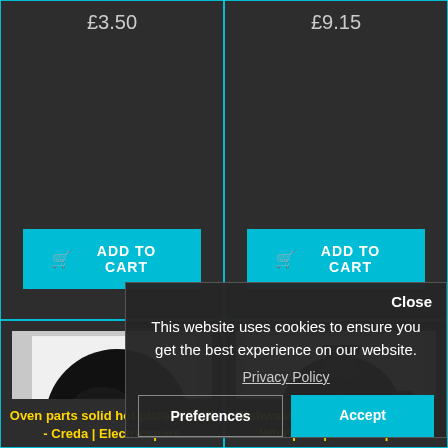£3.50
£9.15
ADD TO CART
ADD TO CART
[Figure (photo): Black solid hotplate cooking element with red indicator dot, white background]
[Figure (photo): Black dishwasher drain pump component, grey background]
Oven parts solid hot plate 1500W - Creda | Electricspare
Dishwasher spares drain pump - Whirlpool | Electricspare
Close
This website uses cookies to ensure you get the best experience on our website.
Privacy Policy
Preferences
Accept